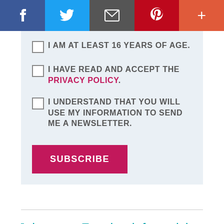[Figure (infographic): Social media share bar with Facebook (blue), Twitter (light blue), Email (dark gray), Pinterest (red), and More (orange-red) buttons]
I AM AT LEAST 16 YEARS OF AGE.
I HAVE READ AND ACCEPT THE PRIVACY POLICY.
I UNDERSTAND THAT YOU WILL USE MY INFORMATION TO SEND ME A NEWSLETTER.
SUBSCRIBE
Join us on Facebook for articles, support, discussion and more. Click